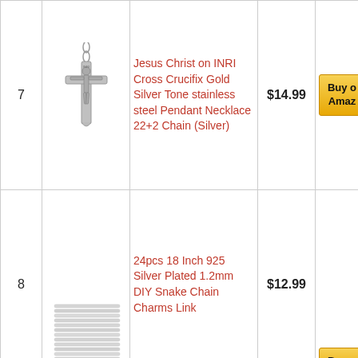| # | Image | Product | Price | Buy |
| --- | --- | --- | --- | --- |
| 7 | [crucifix pendant image] | Jesus Christ on INRI Cross Crucifix Gold Silver Tone stainless steel Pendant Necklace 22+2 Chain (Silver) | $14.99 | Buy on Amazon |
| 8 | [snake chains image] | 24pcs 18 Inch 925 Silver Plated 1.2mm DIY Snake Chain Charms Link | $12.99 | Buy on Amazon |